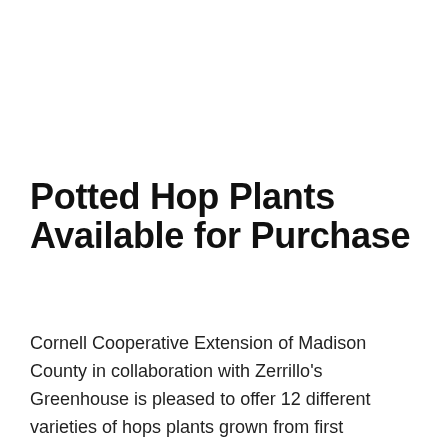Potted Hop Plants Available for Purchase
Cornell Cooperative Extension of Madison County in collaboration with Zerrillo's Greenhouse is pleased to offer 12 different varieties of hops plants grown from first generation cuttings of virus-indexed stock purchased from Washington State's Clean Plant Program. Varieties available